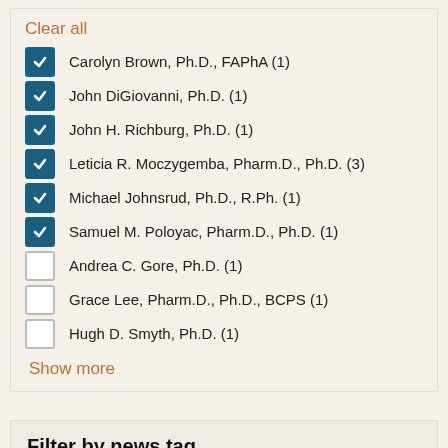Clear all
Carolyn Brown, Ph.D., FAPhA (1) [checked]
John DiGiovanni, Ph.D. (1) [checked]
John H. Richburg, Ph.D. (1) [checked]
Leticia R. Moczygemba, Pharm.D., Ph.D. (3) [checked]
Michael Johnsrud, Ph.D., R.Ph. (1) [checked]
Samuel M. Poloyac, Pharm.D., Ph.D. (1) [checked]
Andrea C. Gore, Ph.D. (1) [unchecked]
Grace Lee, Pharm.D., Ph.D., BCPS (1) [unchecked]
Hugh D. Smyth, Ph.D. (1) [unchecked]
Show more
Filter by news tag